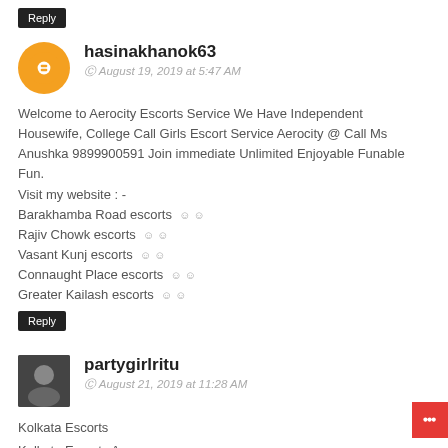Reply
hasinakhanok63
August 19, 2019 at 5:47 AM
Welcome to Aerocity Escorts Service We Have Independent Housewife, College Call Girls Escort Service Aerocity @ Call Ms Anushka 9899900591 Join immediate Unlimited Enjoyable Funable Fun.
Visit my website : -
Barakhamba Road escorts
Rajiv Chowk escorts
Vasant Kunj escorts
Connaught Place escorts
Greater Kailash escorts
Reply
partygirlritu
August 21, 2019 at 11:28 AM
Kolkata Escorts
Kolkata Escorts Agency
Kolkata Escorts Service
Kolkata Escorts Girls